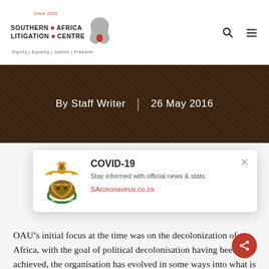Since 2005 SOUTHERN AFRICA LITIGATION CENTRE Dignity | Equality | Justice | Freedom
By Staff Writer  |  26 May 2016
[Figure (infographic): COVID-19 popup card with South Africa coat of arms, title COVID-19, text 'Stay informed with official news & stats:', link 'SAcoronavirus.co.za', and a close X button]
OAU’s initial focus at the time was on the decolonization of Africa, with the goal of political decolonisation having been achieved, the organisation has evolved in some ways into what is now known as the